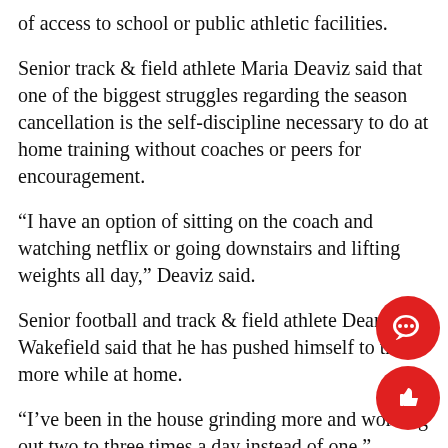of access to school or public athletic facilities.
Senior track & field athlete Maria Deaviz said that one of the biggest struggles regarding the season cancellation is the self-discipline necessary to do at home training without coaches or peers for encouragement.
“I have an option of sitting on the coach and watching netflix or going downstairs and lifting weights all day,” Deaviz said.
Senior football and track & field athlete Deandre Wakefield said that he has pushed himself to train more while at home.
“I’ve been in the house grinding more and working out two to three times a day instead of one,” Wakefield said.
Senior lacrosse athlete Liam Hannon said that athletes should make better use of the extra time they have available to get workouts in.
“It is nice to have much more free time to take things up a notch,” Hannon said. “[Workouts like] late morning lifts and then night runs. Everyone’s schedule is a lot more free and they aren’t taking